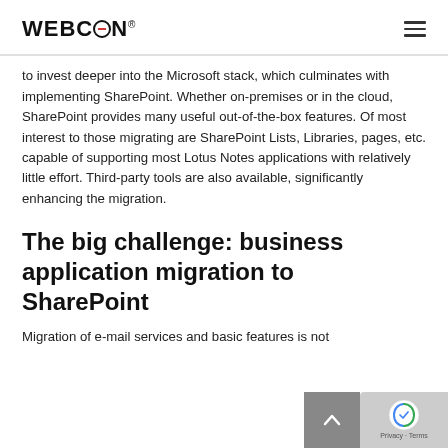WEBCON
to invest deeper into the Microsoft stack, which culminates with implementing SharePoint. Whether on-premises or in the cloud, SharePoint provides many useful out-of-the-box features. Of most interest to those migrating are SharePoint Lists, Libraries, pages, etc. capable of supporting most Lotus Notes applications with relatively little effort. Third-party tools are also available, significantly enhancing the migration.
The big challenge: business application migration to SharePoint
Migration of e-mail services and basic features is not